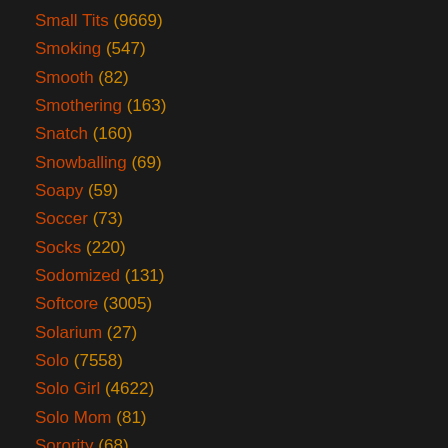Small Tits (9669)
Smoking (547)
Smooth (82)
Smothering (163)
Snatch (160)
Snowballing (69)
Soapy (59)
Soccer (73)
Socks (220)
Sodomized (131)
Softcore (3005)
Solarium (27)
Solo (7558)
Solo Girl (4622)
Solo Mom (81)
Sorority (68)